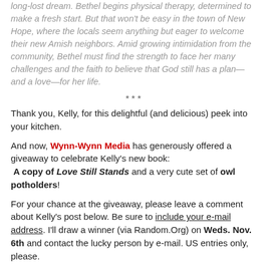long-lost dream. Bethel begins physical therapy, determined to make a fresh start. But that won't be easy in the town of New Hope, where the locals seem anything but eager to welcome their new Amish neighbors. Amid growing intimidation from the community, Bethel must find the strength to face her many challenges and the faith to believe that God still has a plan—and a love—for her life.
***
Thank you, Kelly, for this delightful (and delicious) peek into your kitchen.
And now, Wynn-Wynn Media has generously offered a giveaway to celebrate Kelly's new book: A copy of Love Still Stands and a very cute set of owl potholders!
For your chance at the giveaway, please leave a comment about Kelly's post below. Be sure to include your e-mail address. I'll draw a winner (via Random.Org) on Weds. Nov. 6th and contact the lucky person by e-mail. US entries only, please.